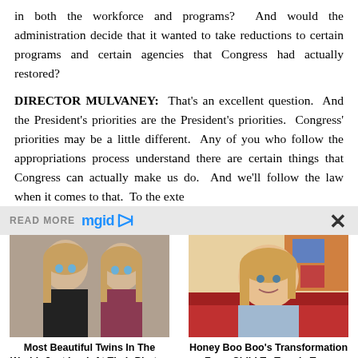in both the workforce and programs?  And would the administration decide that it wanted to take reductions to certain programs and certain agencies that Congress had actually restored?
DIRECTOR MULVANEY:  That's an excellent question.  And the President's priorities are the President's priorities.  Congress' priorities may be a little different.  Any of you who follow the appropriations process understand there are certain things that Congress can actually make us do.  And we'll follow the law when it comes to that.  To the exte
[Figure (screenshot): Advertisement bar showing 'READ MORE' text with mgid logo and play button, with close X button on right]
[Figure (photo): Photo of two blonde girls side by side]
Most Beautiful Twins In The World: Just Look At Their Photos
[Figure (photo): Photo of a young girl sitting on a red couch]
Honey Boo Boo's Transformation From Child To Trendy Teen